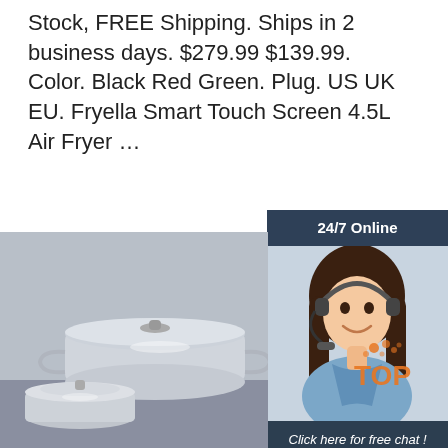Stock, FREE Shipping. Ships in 2 business days. $279.99 $139.99. Color. Black Red Green. Plug. US UK EU. Fryella Smart Touch Screen 4.5L Air Fryer …
[Figure (other): Orange 'Get Price' button]
[Figure (other): 24/7 Online chat widget with a woman wearing a headset, and a 'Click here for free chat!' prompt with an orange QUOTATION button]
[Figure (photo): Stainless steel cookware pots with glass lids on a gray background, with a TOP logo watermark in the bottom right]